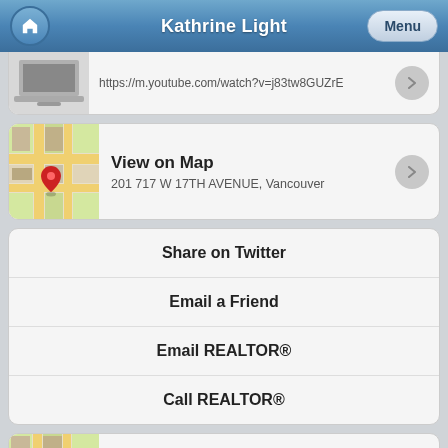Kathrine Light
https://m.youtube.com/watch?v=j83tw8GUZrE
View on Map
201 717 W 17TH AVENUE, Vancouver
Share on Twitter
Email a Friend
Email REALTOR®
Call REALTOR®
Map App
View properties for sale near you on a map